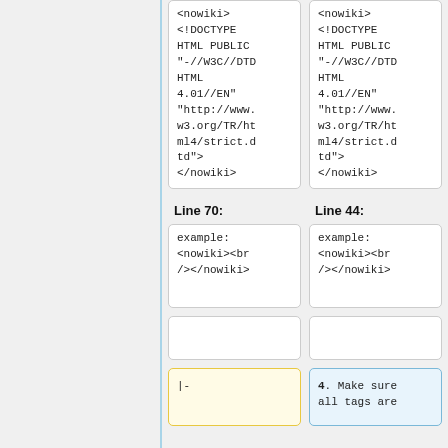<nowiki>
<!DOCTYPE HTML PUBLIC "-//W3C//DTD HTML 4.01//EN" "http://www.w3.org/TR/html4/strict.dtd">
</nowiki>
<nowiki>
<!DOCTYPE HTML PUBLIC "-//W3C//DTD HTML 4.01//EN" "http://www.w3.org/TR/html4/strict.dtd">
</nowiki>
Line 70:
Line 44:
example:
<nowiki><br
/></nowiki>
example:
<nowiki><br
/></nowiki>
|-
4. Make sure all tags are